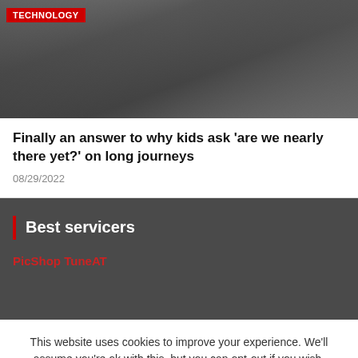[Figure (photo): Photo of a child in a car seat with an adult nearby, with a TECHNOLOGY badge overlay]
Finally an answer to why kids ask 'are we nearly there yet?' on long journeys
08/29/2022
Best servicers
PicShop TuneAT
This website uses cookies to improve your experience. We'll assume you're ok with this, but you can opt-out if you wish.
Cookie settings
ACCEPT